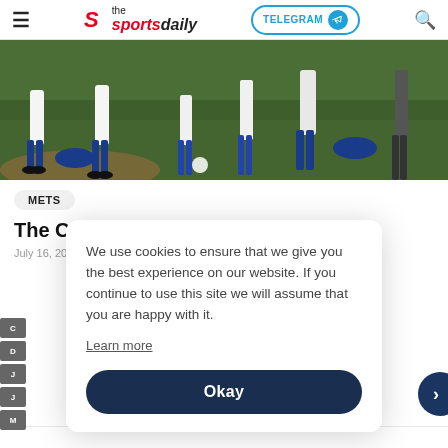the sportsdaily — TELEGRAM — Search
[Figure (photo): Baseball players on a field, partially cropped, showing legs and green grass]
METS
The Curse Of Billy McKinney
July 16, 2021 / July 17, 2021 by metstradermus
We use cookies to ensure that we give you the best experience on our website. If you continue to use this site we will assume that you are happy with it.
Learn more
Okay